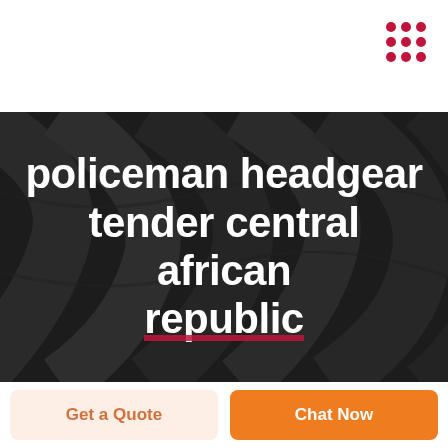[Figure (logo): 3x3 grid of dark red dots in top right corner, functioning as a menu/app icon]
[Figure (illustration): Dark banner with wavy black/dark grey abstract background texture]
policeman headgear tender central african republic
Get a Quote
Chat Now